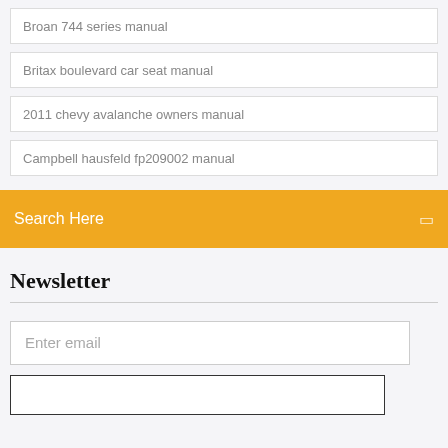Broan 744 series manual
Britax boulevard car seat manual
2011 chevy avalanche owners manual
Campbell hausfeld fp209002 manual
Search Here
Newsletter
Enter email